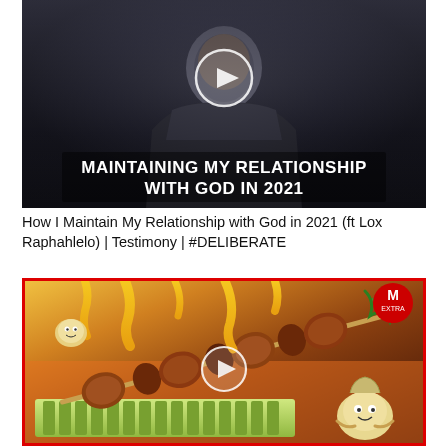[Figure (screenshot): Video thumbnail showing a man in a dark hoodie with a play button overlay and bold white text reading 'MAINTAINING MY RELATIONSHIP WITH GOD IN 2021']
How I Maintain My Relationship with God in 2021 (ft Lox Raphahlelo) | Testimony | #DELIBERATE
[Figure (screenshot): Video thumbnail with red border showing grilled meat skewers with cheese dripping, cartoon vegetable characters, and a play button overlay. Red logo badge in top right corner.]